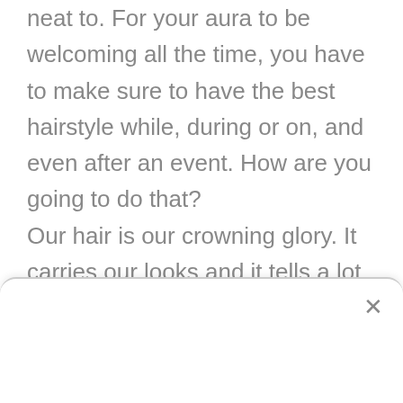tell you that you should look good and neat to. For your aura to be welcoming all the time, you have to make sure to have the best hairstyle while, during or on, and even after an event. How are you going to do that? Our hair is our crowning glory. It carries our looks and it tells a lot about our personality. The usual hairstyle is hair in a bun. This, according to studies, is appropriate for business attires, formal events, and even in normal or regular days because according to many, hair in